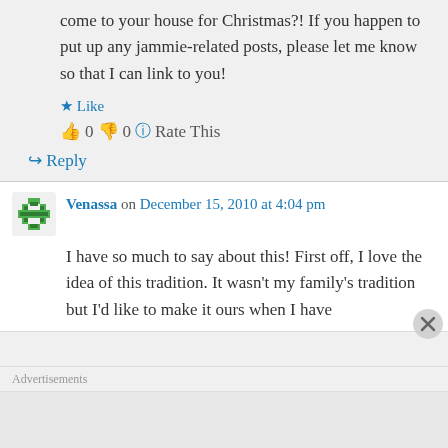come to your house for Christmas?! If you happen to put up any jammie-related posts, please let me know so that I can link to you!
Like
👍 0 👎 0 ℹ Rate This
↪ Reply
Venassa on December 15, 2010 at 4:04 pm
I have so much to say about this! First off, I love the idea of this tradition. It wasn't my family's tradition but I'd like to make it ours when I have
Advertisements